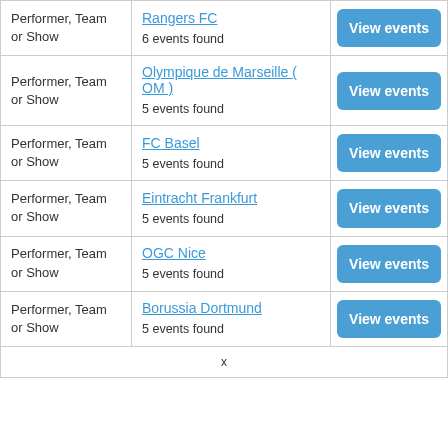| Type | Name | Action |
| --- | --- | --- |
| Performer, Team or Show | Rangers FC
6 events found | View events |
| Performer, Team or Show | Olympique de Marseille ( OM )
5 events found | View events |
| Performer, Team or Show | FC Basel
5 events found | View events |
| Performer, Team or Show | Eintracht Frankfurt
5 events found | View events |
| Performer, Team or Show | OGC Nice
5 events found | View events |
| Performer, Team or Show | Borussia Dortmund
5 events found | View events |